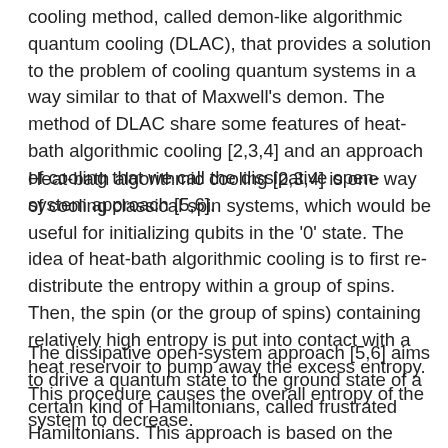cooling method, called demon-like algorithmic quantum cooling (DLAC), that provides a solution to the problem of cooling quantum systems in a way similar to that of Maxwell's demon. The method of DLAC share some features of heat-bath algorithmic cooling [2,3,4] and an approach of cooling that we call the dissipative open-system approach [5,6].
Heat-bath algorithmic cooling [2,3,4] is one way of cooling classical spin systems, which would be useful for initializing qubits in the '0' state. The idea of heat-bath algorithmic cooling is to first re-distribute the entropy within a group of spins. Then, the spin (or the group of spins) containing relatively high entropy is put into contact with a heat reservoir to pump away the excess entropy. This procedure causes the overall entropy of the system to decrease.
The dissipative open-system approach [5,6] aims to drive a quantum state to the ground state of a certain kind of Hamiltonians, called frustrated Hamiltonians. This approach is based on the application of appropriate quantum jump operators to the subspace of the quantum state that would